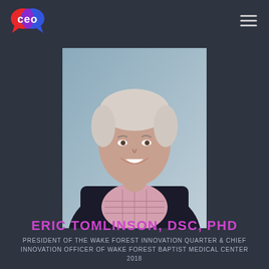[Figure (logo): CEO magazine logo with speech bubble icon in red, blue, purple]
[Figure (photo): Professional headshot of Eric Tomlinson, an older man with white/silver hair, wearing a dark blazer and plaid shirt, smiling, light blue/grey background]
ERIC TOMLINSON, DSC, PHD
PRESIDENT OF THE WAKE FOREST INNOVATION QUARTER & CHIEF INNOVATION OFFICER OF WAKE FOREST BAPTIST MEDICAL CENTER 2018